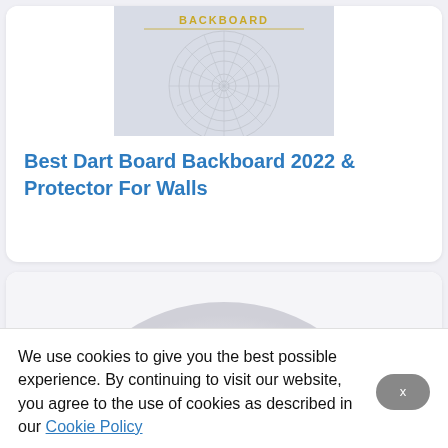[Figure (photo): Dartboard backboard image, light gray/blue tones with dartboard pattern visible]
Best Dart Board Backboard 2022 & Protector For Walls
[Figure (photo): Partial round white/light gray object, cropped circular shape visible from top]
We use cookies to give you the best possible experience. By continuing to visit our website, you agree to the use of cookies as described in our Cookie Policy